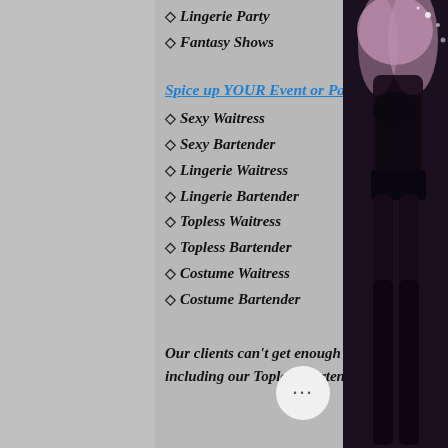◇ Lingerie Party
◇ Fantasy Shows
Spice up YOUR Event or Party with our talented:
◇ Sexy Waitress
◇ Sexy Bartender
◇ Lingerie Waitress
◇ Lingerie Bartender
◇ Topless Waitress
◇ Topless Bartender
◇ Costume Waitress
◇ Costume Bartender
Our clients can't get enough of our Erotic, Stunning, Exciting Female & Male Entertainers including our Topless Bartenders & Lingerie Waitress & Sexy Waitress who go
[Figure (photo): Partial view of a woman in lingerie on the right side of the page]